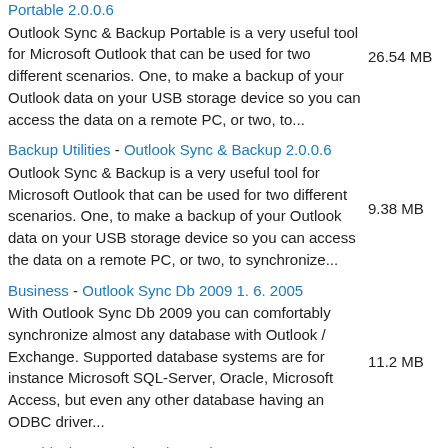Portable 2.0.0.6 - Outlook Sync & Backup Portable is a very useful tool for Microsoft Outlook that can be used for two different scenarios. One, to make a backup of your Outlook data on your USB storage device so you can access the data on a remote PC, or two, to... | 26.54 MB
Backup Utilities - Outlook Sync & Backup 2.0.0.6 - Outlook Sync & Backup is a very useful tool for Microsoft Outlook that can be used for two different scenarios. One, to make a backup of your Outlook data on your USB storage device so you can access the data on a remote PC, or two, to synchronize... | 9.38 MB
Business - Outlook Sync Db 2009 1. 6. 2005 - With Outlook Sync Db 2009 you can comfortably synchronize almost any database with Outlook / Exchange. Supported database systems are for instance Microsoft SQL-Server, Oracle, Microsoft Access, but even any other database having an ODBC driver... | 11.2 MB
Graphical Text Tools - Photo Sharpen 2.1 - Add more clarity to any photos, old or new, blur or clear, sharpen images for free without expensive software or tools such as Photo Shop or Paint Shop Pro. Sharpen any family photos, online with our tool or offline with our software for free. | 1.17 MB
Business - EasyTaskSync (MS Project Outlook